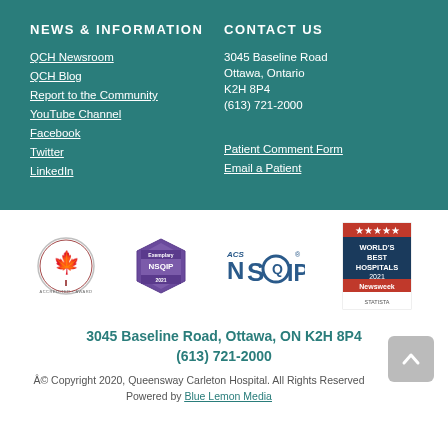NEWS & INFORMATION
QCH Newsroom
QCH Blog
Report to the Community
YouTube Channel
Facebook
Twitter
LinkedIn
CONTACT US
3045 Baseline Road
Ottawa, Ontario
K2H 8P4
(613) 721-2000
Patient Comment Form
Email a Patient
[Figure (logo): Accreditation Canada logo - circular badge with maple leaf]
[Figure (logo): NSQIP badge 2021 - purple hexagonal badge]
[Figure (logo): ACS NSQIP logo]
[Figure (logo): World's Best Hospitals 2021 - Newsweek badge with stars]
3045 Baseline Road, Ottawa, ON K2H 8P4
(613) 721-2000
Â© Copyright 2020, Queensway Carleton Hospital. All Rights Reserved
Powered by Blue Lemon Media